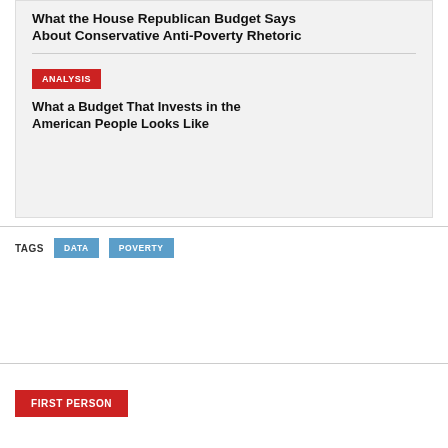What the House Republican Budget Says About Conservative Anti-Poverty Rhetoric
ANALYSIS
What a Budget That Invests in the American People Looks Like
TAGS
DATA
POVERTY
FIRST PERSON